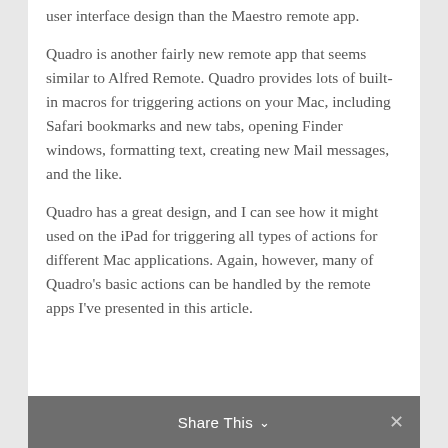user interface design than the Maestro remote app.
Quadro is another fairly new remote app that seems similar to Alfred Remote. Quadro provides lots of built-in macros for triggering actions on your Mac, including Safari bookmarks and new tabs, opening Finder windows, formatting text, creating new Mail messages, and the like.
Quadro has a great design, and I can see how it might used on the iPad for triggering all types of actions for different Mac applications. Again, however, many of Quadro's basic actions can be handled by the remote apps I've presented in this article.
Share This ∨  ✕